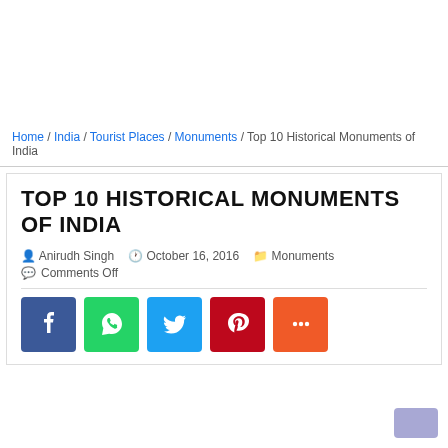Home / India / Tourist Places / Monuments / Top 10 Historical Monuments of India
TOP 10 HISTORICAL MONUMENTS OF INDIA
Anirudh Singh   October 16, 2016   Monuments   Comments Off
[Figure (infographic): Social sharing buttons: Facebook (blue), WhatsApp (green), Twitter (light blue), Pinterest (dark red), More (orange-red)]